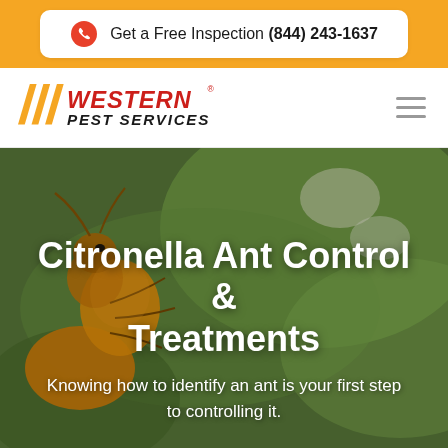Get a Free Inspection (844) 243-1637
[Figure (logo): Western Pest Services logo with orange parallelogram stripes and bold red/black text]
[Figure (photo): Close-up macro photo of a citronella ant (orange/golden colored) on white flowers against a blurred green background]
Citronella Ant Control & Treatments
Knowing how to identify an ant is your first step to controlling it.